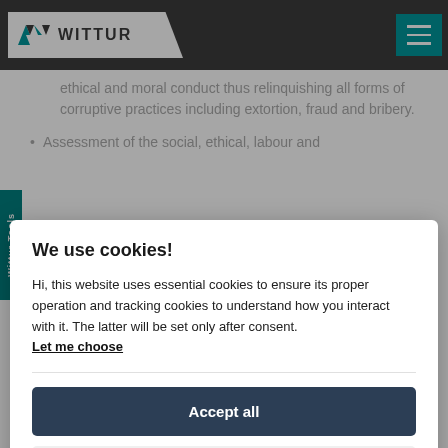WITTUR
ethical and moral conduct thus relinquishing all forms of corruptive practices including extortion, fraud and bribery.
Assessment of the social, ethical, labour and
We use cookies!
Hi, this website uses essential cookies to ensure its proper operation and tracking cookies to understand how you interact with it. The latter will be set only after consent.
Let me choose
Accept all
Reject all
SUPPLIER PORTAL